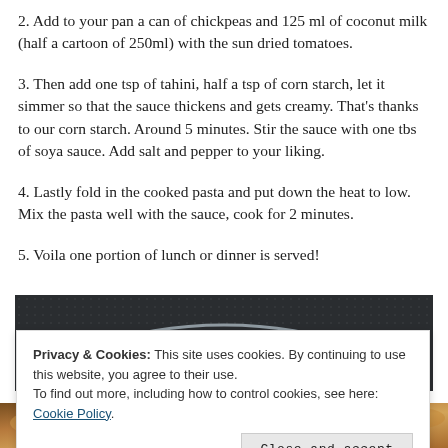2. Add to your pan a can of chickpeas and 125 ml of coconut milk (half a cartoon of 250ml) with the sun dried tomatoes.
3. Then add one tsp of tahini, half a tsp of corn starch, let it simmer so that the sauce thickens and gets creamy. That's thanks to our corn starch. Around 5 minutes. Stir the sauce with one tbs of soya sauce. Add salt and pepper to your liking.
4. Lastly fold in the cooked pasta and put down the heat to low. Mix the pasta well with the sauce, cook for 2 minutes.
5. Voila one portion of lunch or dinner is served!
[Figure (photo): Dark pan/plate photo showing a circular plate rim arc against a dark textured background]
[Figure (photo): Bottom strip photo showing cooked pasta dish]
Privacy & Cookies: This site uses cookies. By continuing to use this website, you agree to their use.
To find out more, including how to control cookies, see here: Cookie Policy
Close and accept